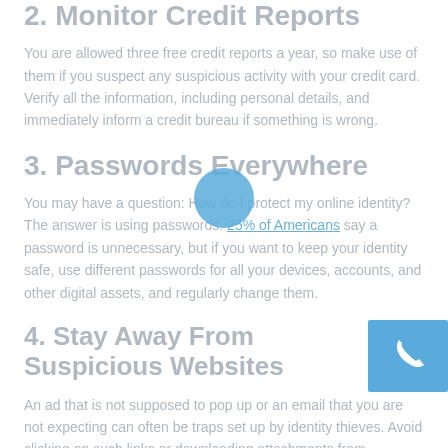2. Monitor Credit Reports
You are allowed three free credit reports a year, so make use of them if you suspect any suspicious activity with your credit card. Verify all the information, including personal details, and immediately inform a credit bureau if something is wrong.
3. Passwords Everywhere
You may have a question: How do I protect my online identity? The answer is using passwords. 25% of Americans say a password is unnecessary, but if you want to keep your identity safe, use different passwords for all your devices, accounts, and other digital assets, and regularly change them.
4. Stay Away From Suspicious Websites
An ad that is not supposed to pop up or an email that you are not expecting can often be traps set up by identity thieves. Avoid clicking on such links or downloading attachments from suspicious emails. Never give out personal information on a